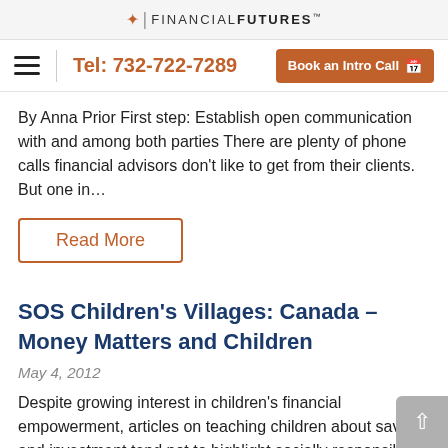FINANCIAL FUTURES
Tel: 732-722-7289
Book an Intro Call
By Anna Prior First step: Establish open communication with and among both parties There are plenty of phone calls financial advisors don't like to get from their clients. But one in…
Read More
SOS Children's Villages: Canada – Money Matters and Children
May 4, 2012
Despite growing interest in children's financial empowerment, articles on teaching children about savings and investment tend not to highlight socially responsible choices. New Jersey financial adviser,